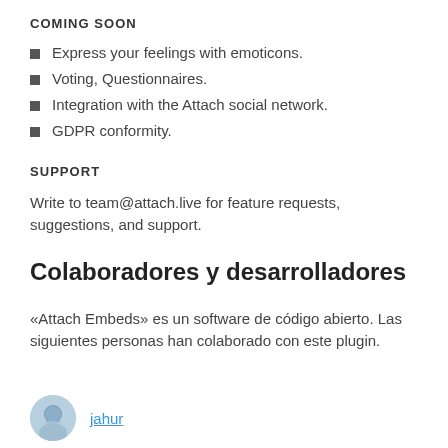COMING SOON
Express your feelings with emoticons.
Voting, Questionnaires.
Integration with the Attach social network.
GDPR conformity.
SUPPORT
Write to team@attach.live for feature requests, suggestions, and support.
Colaboradores y desarrolladores
«Attach Embeds» es un software de código abierto. Las siguientes personas han colaborado con este plugin.
jahur